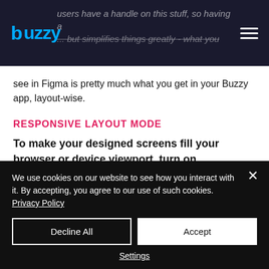buzzy — navigation header with logo and hamburger menu
users have a handle on this stuff, so having a ... but simplifies things greatly - what you see in Figma is pretty much what you get in your Buzzy app, layout-wise.
RESPONSIVE LAYOUT MODE
To make your designed screens fill your browser or device viewport, turn on 'responsive mode' via the switch below your
We use cookies on our website to see how you interact with it. By accepting, you agree to our use of such cookies. Privacy Policy
Decline All
Accept
Settings